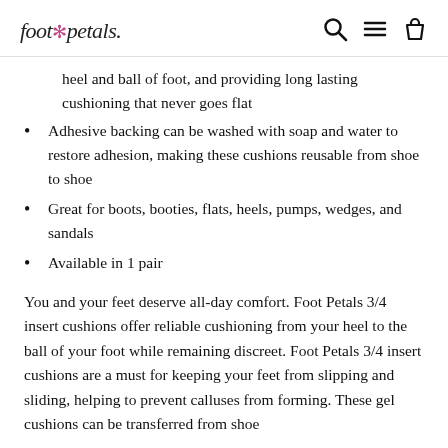foot petals [logo with search, menu, cart icons]
heel and ball of foot, and providing long lasting cushioning that never goes flat
Adhesive backing can be washed with soap and water to restore adhesion, making these cushions reusable from shoe to shoe
Great for boots, booties, flats, heels, pumps, wedges, and sandals
Available in 1 pair
You and your feet deserve all-day comfort. Foot Petals 3/4 insert cushions offer reliable cushioning from your heel to the ball of your foot while remaining discreet. Foot Petals 3/4 insert cushions are a must for keeping your feet from slipping and sliding, helping to prevent calluses from forming. These gel cushions can be transferred from shoe